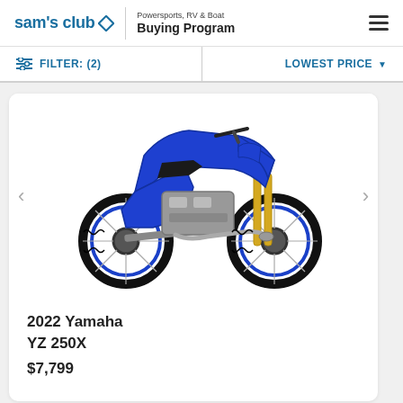[Figure (logo): Sam's Club logo with diamond icon and 'Powersports, RV & Boat Buying Program' header text]
FILTER: (2)
LOWEST PRICE ▼
[Figure (photo): 2022 Yamaha YZ 250X blue motocross dirt bike on white background, side profile view]
2022 Yamaha YZ 250X $7,799